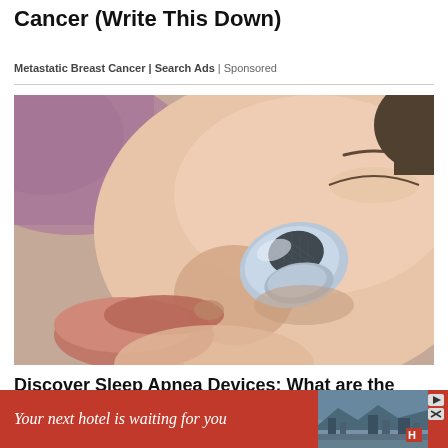Cancer (Write This Down)
Metastatic Breast Cancer | Search Ads | Sponsored
[Figure (photo): Close-up photo of a person's face lying down with a small silver/blue sleep apnea device placed near their nose/cheek area]
Discover Sleep Apnea Devices: What are the Common Options for Sleep Apnea
[Figure (photo): Advertisement banner with red background showing 'Your next hotel is waiting for you' text with a cityscape photo on the right and navigation arrows]